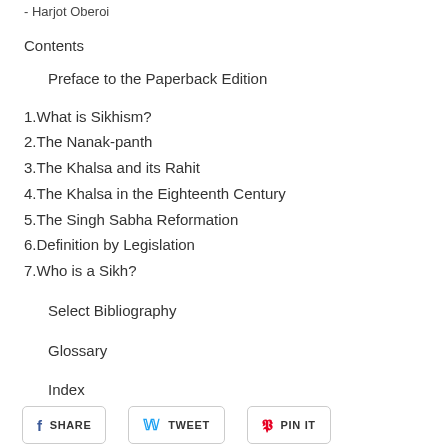- Harjot Oberoi
Contents
Preface to the Paperback Edition
1.What is Sikhism?
2.The Nanak-panth
3.The Khalsa and its Rahit
4.The Khalsa in the Eighteenth Century
5.The Singh Sabha Reformation
6.Definition by Legislation
7.Who is a Sikh?
Select Bibliography
Glossary
Index